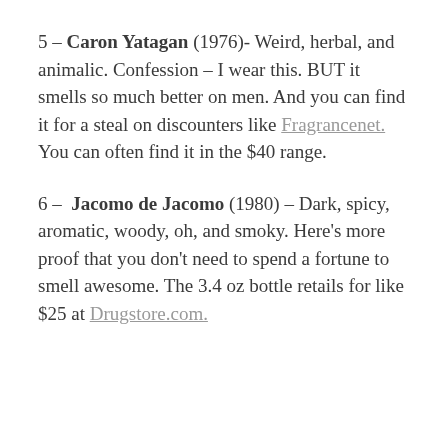5 – Caron Yatagan (1976)- Weird, herbal, and animalic. Confession – I wear this. BUT it smells so much better on men. And you can find it for a steal on discounters like Fragrancenet. You can often find it in the $40 range.
6 – Jacomo de Jacomo (1980) – Dark, spicy, aromatic, woody, oh, and smoky. Here's more proof that you don't need to spend a fortune to smell awesome. The 3.4 oz bottle retails for like $25 at Drugstore.com.